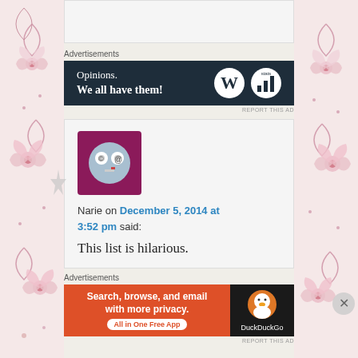[Figure (screenshot): Top portion of a grey comment/content box, partially visible, cut off at top of page]
Advertisements
[Figure (screenshot): WordPress advertisement banner with dark navy background reading 'Opinions. We all have them!' with WordPress and stats logos]
REPORT THIS AD
[Figure (screenshot): Decorative star/bookmark marker on left side of comment box]
[Figure (illustration): Avatar image: purple/maroon square background with a grey cartoon face emoji with spiral eyes and flat expression]
Narie on December 5, 2014 at 3:52 pm said:
This list is hilarious.
Advertisements
[Figure (screenshot): DuckDuckGo advertisement: orange left section reading 'Search, browse, and email with more privacy. All in One Free App' and dark right section with DuckDuckGo duck logo]
REPORT THIS AD
[Figure (illustration): Decorative floral border on left side of page with pink flowers and swirl patterns]
[Figure (illustration): Decorative floral border on right side of page with pink flowers and swirl patterns]